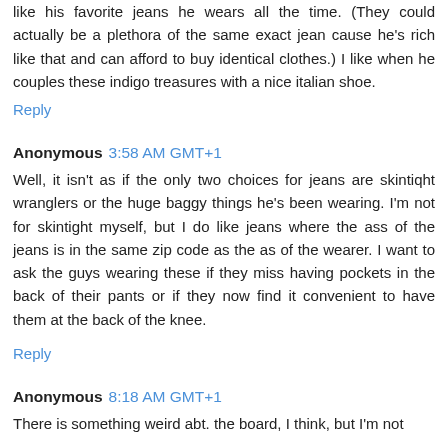like his favorite jeans he wears all the time. (They could actually be a plethora of the same exact jean cause he's rich like that and can afford to buy identical clothes.) I like when he couples these indigo treasures with a nice italian shoe.
Reply
Anonymous 3:58 AM GMT+1
Well, it isn't as if the only two choices for jeans are skintiqht wranglers or the huge baggy things he's been wearing. I'm not for skintight myself, but I do like jeans where the ass of the jeans is in the same zip code as the as of the wearer. I want to ask the guys wearing these if they miss having pockets in the back of their pants or if they now find it convenient to have them at the back of the knee.
Reply
Anonymous 8:18 AM GMT+1
There is something weird abt. the board, I think, but I'm not